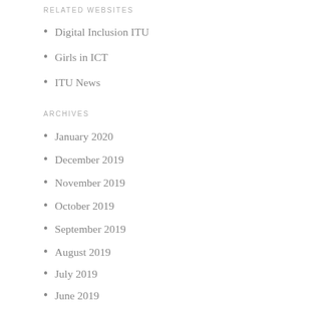RELATED WEBSITES
Digital Inclusion ITU
Girls in ICT
ITU News
ARCHIVES
January 2020
December 2019
November 2019
October 2019
September 2019
August 2019
July 2019
June 2019
May 2019
April 2019